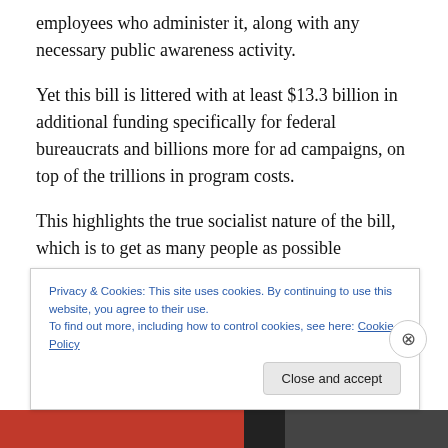employees who administer it, along with any necessary public awareness activity.
Yet this bill is littered with at least $13.3 billion in additional funding specifically for federal bureaucrats and billions more for ad campaigns, on top of the trillions in program costs.
This highlights the true socialist nature of the bill, which is to get as many people as possible dependent on as many government programs as possible, so that the politicians
Privacy & Cookies: This site uses cookies. By continuing to use this website, you agree to their use.
To find out more, including how to control cookies, see here: Cookie Policy